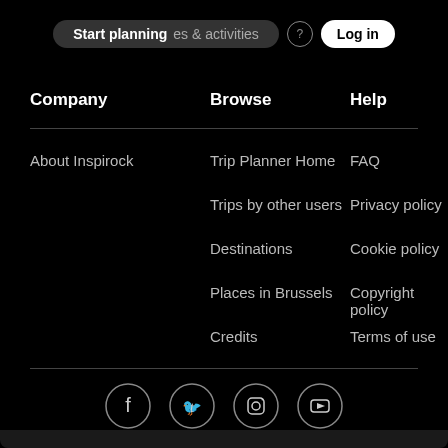Start planning · experiences & activities · Log in
Company
Browse
Help
About Inspirock
Trip Planner Home
FAQ
Trips by other users
Privacy policy
Destinations
Cookie policy
Places in Brussels
Copyright policy
Credits
Terms of use
[Figure (infographic): Social media icons: Facebook, Twitter, Instagram, YouTube in circular outlines]
Visit our blog